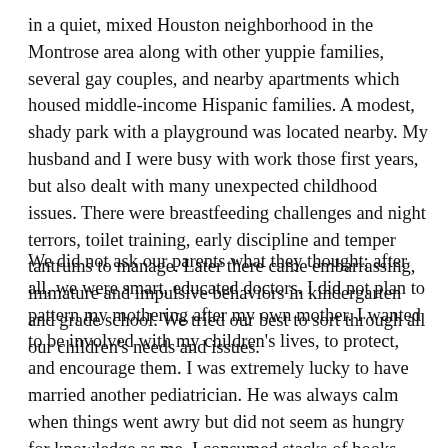in a quiet, mixed Houston neighborhood in the Montrose area along with other yuppie families, several gay couples, and nearby apartments which housed middle-income Hispanic families. A modest, shady park with a playground was located nearby. My husband and I were busy with work those first years, but also dealt with many unexpected childhood issues. There were breastfeeding challenges and night terrors, toilet training, early discipline and temper tantrums to manage. Later there came embarrassing, immature and impulsive behaviors in kindergarten and grade school. We tried our best to sort through all our children's needs and issues.
We did not ask our parents what they thought; after all, we were smart, educated doctors. I did not plan to pattern my mothering after my own mother. I wanted to be involved with my children's lives, to protect, and encourage them. I was extremely lucky to have married another pediatrician. He was always calm when things went awry but did not seem as hungry for knowledge as me. I consumed stacks of books written by experts on child behavior and child development. (Thank goodness there was no internet back then, or I would be addicted.) I needed to know if all the things I observed with my children were normal. Surprisingly,